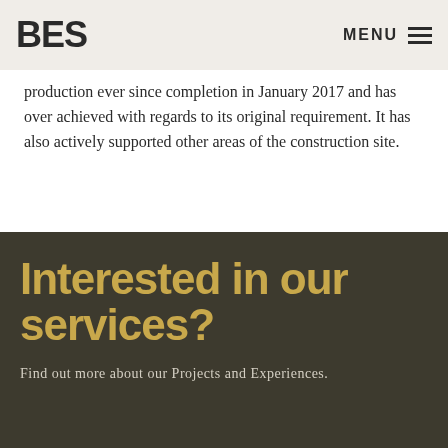BES | MENU
production ever since completion in January 2017 and has over achieved with regards to its original requirement. It has also actively supported other areas of the construction site.
Interested in our services?
Find out more about our Projects and Experiences.